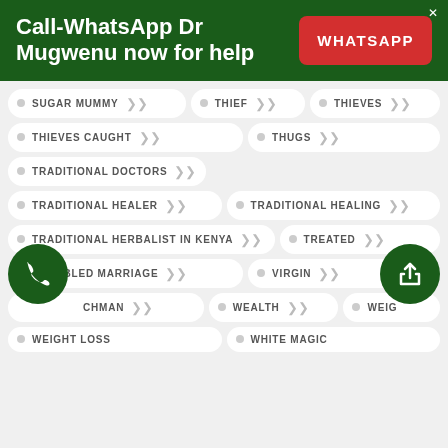Call-WhatsApp Dr Mugwenu now for help
SUGAR MUMMY
THIEF
THIEVES
THIEVES CAUGHT
THUGS
TRADITIONAL DOCTORS
TRADITIONAL HEALER
TRADITIONAL HEALING
TRADITIONAL HERBALIST IN KENYA
TREATED
TROUBLED MARRIAGE
VIRGIN
WATCHMAN
WEALTH
WEIGHT
WEIGHT LOSS
WHITE MAGIC